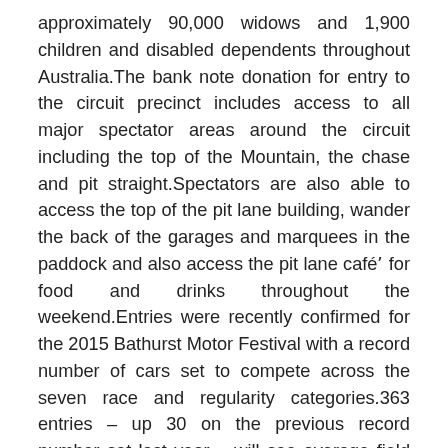approximately 90,000 widows and 1,900 children and disabled dependents throughout Australia.The bank note donation for entry to the circuit precinct includes access to all major spectator areas around the circuit including the top of the Mountain, the chase and pit straight.Spectators are also able to access the top of the pit lane building, wander the back of the garages and marquees in the paddock and also access the pit lane café' for food and drinks throughout the weekend.Entries were recently confirmed for the 2015 Bathurst Motor Festival with a record number of cars set to compete across the seven race and regularity categories.363 entries – up 30 on the previous record number set last year – will see average field sizes in excess of 50-cars tackling races across the Easter long weekend.This year the Heritage Touring Cars – featuring genuine Group C and A cars from 1974-1992, many that actually raced at Mount Panorama in the Bathurst 1000 – join the program alongside a host of